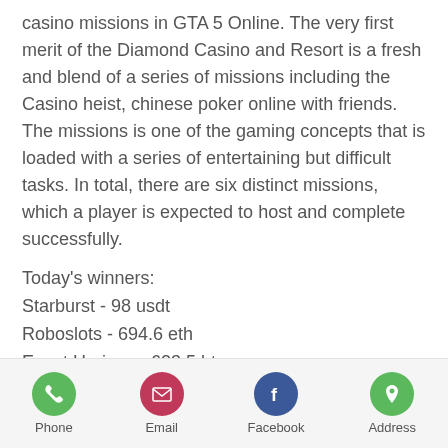casino missions in GTA 5 Online. The very first merit of the Diamond Casino and Resort is a fresh and blend of a series of missions including the Casino heist, chinese poker online with friends. The missions is one of the gaming concepts that is loaded with a series of entertaining but difficult tasks. In total, there are six distinct missions, which a player is expected to host and complete successfully.
Today's winners:
Starburst - 98 usdt
Roboslots - 694.6 eth
Event Horizon - 623.5 btc
Super Flip - 262.3 usdt
Little Monsters - 316.9 btc
High Society - 77.4 ltc
Hansel & Gretel: Witch Hunters - 707.3 usdt
Phone  Email  Facebook  Address